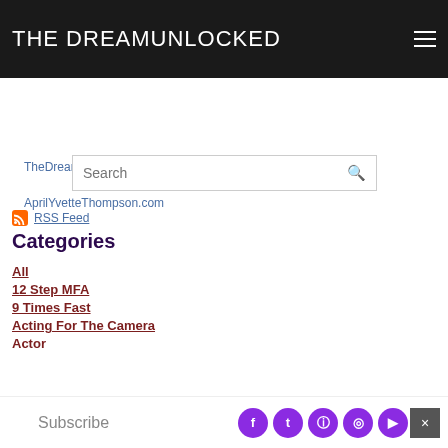DreamingOutLoud Technique
THE DREAMUNLOCKED
TheDreamUnLocked.com
AprilYvetteThompson.com
Search
RSS Feed
Categories
All
12 Step MFA
9 Times Fast
Acting For The Camera
Actor
Subscribe